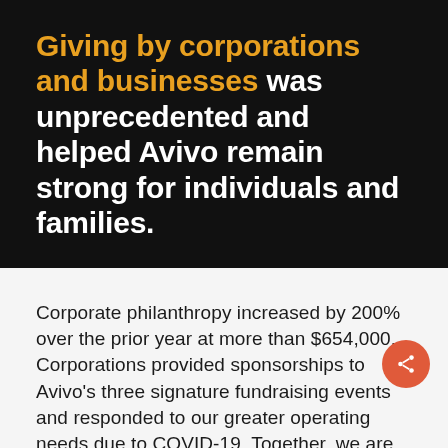Giving by corporations and businesses was unprecedented and helped Avivo remain strong for individuals and families.
Corporate philanthropy increased by 200% over the prior year at more than $654,000. Corporations provided sponsorships to Avivo's three signature fundraising events and responded to our greater operating needs due to COVID-19. Together, we are stronger. We